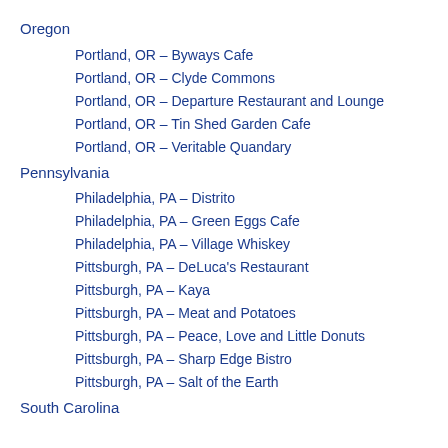Oregon
Portland, OR – Byways Cafe
Portland, OR – Clyde Commons
Portland, OR – Departure Restaurant and Lounge
Portland, OR – Tin Shed Garden Cafe
Portland, OR – Veritable Quandary
Pennsylvania
Philadelphia, PA – Distrito
Philadelphia, PA – Green Eggs Cafe
Philadelphia, PA – Village Whiskey
Pittsburgh, PA – DeLuca's Restaurant
Pittsburgh, PA – Kaya
Pittsburgh, PA – Meat and Potatoes
Pittsburgh, PA – Peace, Love and Little Donuts
Pittsburgh, PA – Sharp Edge Bistro
Pittsburgh, PA – Salt of the Earth
South Carolina